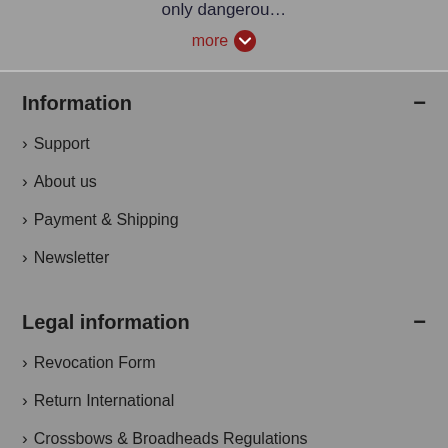only dangerou…
more
Information
Support
About us
Payment & Shipping
Newsletter
Legal information
Revocation Form
Return International
Crossbows & Broadheads Regulations